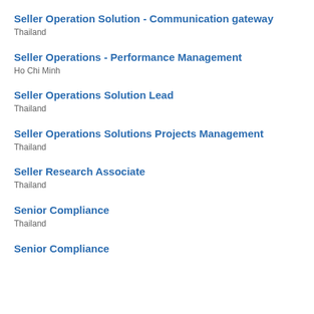Seller Operation Solution - Communication gateway
Thailand
Seller Operations - Performance Management
Ho Chi Minh
Seller Operations Solution Lead
Thailand
Seller Operations Solutions Projects Management
Thailand
Seller Research Associate
Thailand
Senior Compliance
Thailand
Senior Compliance